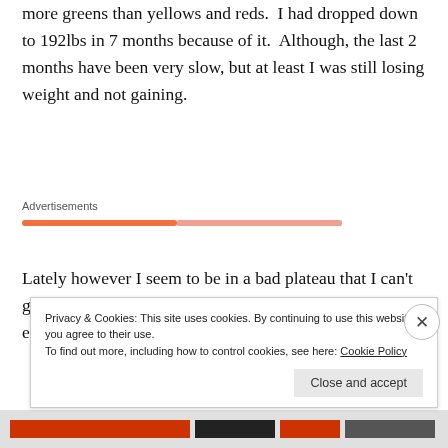more greens than yellows and reds. I had dropped down to 192lbs in 7 months because of it. Although, the last 2 months have been very slow, but at least I was still losing weight and not gaining.
[Figure (other): Advertisements banner with orange and pink horizontal progress-bar style stripes]
Lately however I seem to be in a bad plateau that I can't get out of and I am slipping as a result of it. I've been eating food and not logging it into the Noom app
Privacy & Cookies: This site uses cookies. By continuing to use this website, you agree to their use. To find out more, including how to control cookies, see here: Cookie Policy
Close and accept